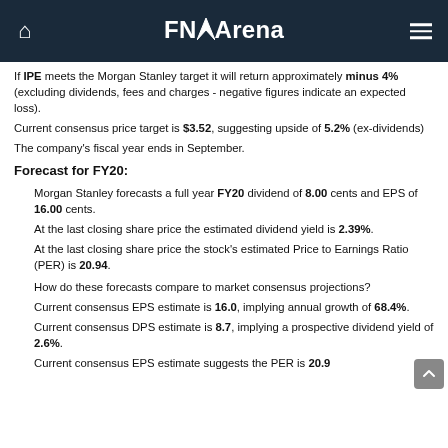FNArena
If IPE meets the Morgan Stanley target it will return approximately minus 4% (excluding dividends, fees and charges - negative figures indicate an expected loss).
Current consensus price target is $3.52, suggesting upside of 5.2% (ex-dividends)
The company's fiscal year ends in September.
Forecast for FY20:
Morgan Stanley forecasts a full year FY20 dividend of 8.00 cents and EPS of 16.00 cents.
At the last closing share price the estimated dividend yield is 2.39%.
At the last closing share price the stock's estimated Price to Earnings Ratio (PER) is 20.94.
How do these forecasts compare to market consensus projections?
Current consensus EPS estimate is 16.0, implying annual growth of 68.4%.
Current consensus DPS estimate is 8.7, implying a prospective dividend yield of 2.6%.
Current consensus EPS estimate suggests the PER is 20.9